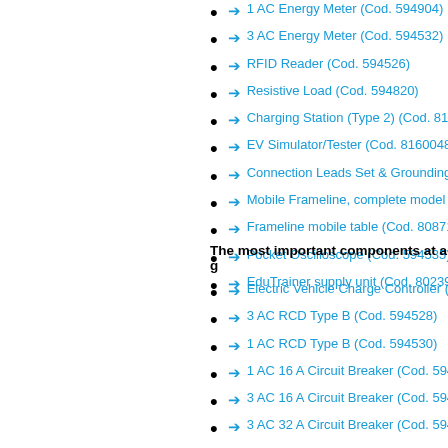→ 1 AC Energy Meter (Cod. 594904)
→ 3 AC Energy Meter (Cod. 594532)
→ RFID Reader (Cod. 594526)
→ Resistive Load (Cod. 594820)
→ Charging Station (Type 2) (Cod. 816...
→ EV Simulator/Tester (Cod. 8160048...
→ Connection Leads Set & Grounding...
→ Mobile Frameline, complete model w...
→ Frameline mobile table (Cod. 80871...
→ Pocket Oscilloscope (Cod. 594535)
→ EduTrainer supply unit (Cod. 80239...
The most important components at a g...
→ Electric Vehicle Charge Controller (...
→ 3 AC RCD Type B (Cod. 594528)
→ 1 AC RCD Type B (Cod. 594530)
→ 1 AC 16 A Circuit Breaker (Cod. 594...
→ 3 AC 16 A Circuit Breaker (Cod. 594...
→ 3 AC 32 A Circuit Breaker (Cod. 594...
→ Four-Pole Contactor (Cod. 594527...